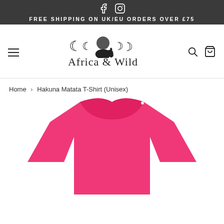FREE SHIPPING ON UK/EU ORDERS OVER £75
[Figure (logo): Africa & Wild logo with moon phases and elephant silhouette]
Home › Hakuna Matata T-Shirt (Unisex)
[Figure (photo): Pink Hakuna Matata unisex t-shirt product photo]